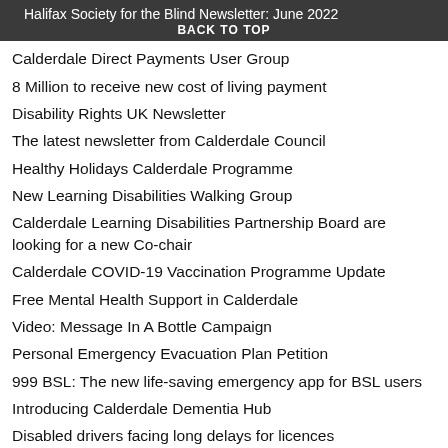Halifax Society for the Blind Newsletter: June 2022
BACK TO TOP
Calderdale Direct Payments User Group
8 Million to receive new cost of living payment
Disability Rights UK Newsletter
The latest newsletter from Calderdale Council
Healthy Holidays Calderdale Programme
New Learning Disabilities Walking Group
Calderdale Learning Disabilities Partnership Board are looking for a new Co-chair
Calderdale COVID-19 Vaccination Programme Update
Free Mental Health Support in Calderdale
Video: Message In A Bottle Campaign
Personal Emergency Evacuation Plan Petition
999 BSL: The new life-saving emergency app for BSL users
Introducing Calderdale Dementia Hub
Disabled drivers facing long delays for licences
Disability Rights UK Newsletter
Report: Disability & The Unequal Impact of Covid-19